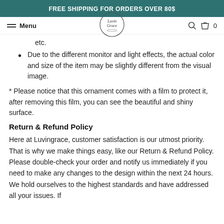FREE SHIPPING FOR ORDERS OVER 80$
Menu | LuvinGrace | 🔍 🛍 0
etc.
Due to the different monitor and light effects, the actual color and size of the item may be slightly different from the visual image.
* Please notice that this ornament comes with a film to protect it, after removing this film, you can see the beautiful and shiny surface.
Return & Refund Policy
Here at Luvingrace, customer satisfaction is our utmost priority. That is why we make things easy, like our Return & Refund Policy. Please double-check your order and notify us immediately if you need to make any changes to the design within the next 24 hours. We hold ourselves to the highest standards and have addressed all your issues. If